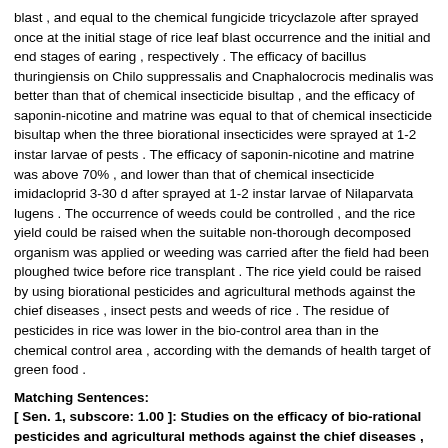blast , and equal to the chemical fungicide tricyclazole after sprayed once at the initial stage of rice leaf blast occurrence and the initial and end stages of earing , respectively . The efficacy of bacillus thuringiensis on Chilo suppressalis and Cnaphalocrocis medinalis was better than that of chemical insecticide bisultap , and the efficacy of saponin-nicotine and matrine was equal to that of chemical insecticide bisultap when the three biorational insecticides were sprayed at 1-2 instar larvae of pests . The efficacy of saponin-nicotine and matrine was above 70% , and lower than that of chemical insecticide imidacloprid 3-30 d after sprayed at 1-2 instar larvae of Nilaparvata lugens . The occurrence of weeds could be controlled , and the rice yield could be raised when the suitable non-thorough decomposed organism was applied or weeding was carried after the field had been ploughed twice before rice transplant . The rice yield could be raised by using biorational pesticides and agricultural methods against the chief diseases , insect pests and weeds of rice . The residue of pesticides in rice was lower in the bio-control area than in the chemical control area , according with the demands of health target of green food .
Matching Sentences:
[ Sen. 1, subscore: 1.00 ]: Studies on the efficacy of bio-rational pesticides and agricultural methods against the chief diseases , insect pests and weeds of rice showed that the efficacy of the mixtures of jingangmycin and bacillus-cereus , and jingangmycin and polyoxin against rice sheath blight were 75 . 16%-94 . 27% after sprayed once at the tiller and boot end stages of rice , respectively , and better than that of chemical fungicide triadimefon . The efficacy of kasugamycin and blasticidin was 50 . 54%-72 . 67% on rice leaf blast and 76 . 66%-87 . 42% on rice head blast , and equal to the chemical fungicide tricyclazole after sprayed once at the initial stage of rice leaf blast , and the initial and end stages of earing , respectively .